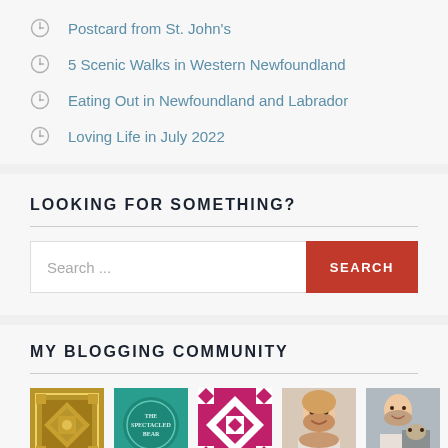Postcard from St. John's
5 Scenic Walks in Western Newfoundland
Eating Out in Newfoundland and Labrador
Loving Life in July 2022
LOOKING FOR SOMETHING?
Search...
MY BLOGGING COMMUNITY
[Figure (photo): Five community blog thumbnails: gold quilt pattern, teal spectacled bear logo, magenta quilt pattern, smiling woman, woman with dog]